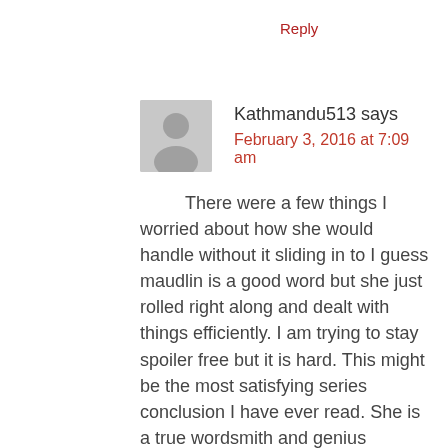Reply
Kathmandu513 says
February 3, 2016 at 7:09 am
There were a few things I worried about how she would handle without it sliding in to I guess maudlin is a good word but she just rolled right along and dealt with things efficiently. I am trying to stay spoiler free but it is hard. This might be the most satisfying series conclusion I have ever read. She is a true wordsmith and genius storyteller. Brava!
Any chance of a post where we can talk with spoliers?
Reply